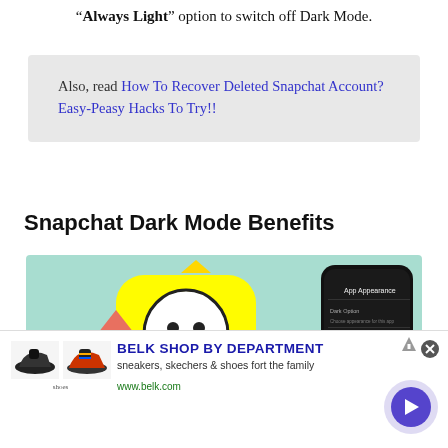“Always Light” option to switch off Dark Mode.
Also, read How To Recover Deleted Snapchat Account? Easy-Peasy Hacks To Try!!
Snapchat Dark Mode Benefits
[Figure (photo): Illustration showing the Snapchat logo (yellow icon with white ghost) on a mint/teal background with colorful geometric shapes (triangles, arrows), alongside a dark-mode phone screenshot showing App Appearance settings.]
[Figure (photo): Advertisement banner for Belk showing two shoe images (black sneaker and colorful sneaker), with text BELK SHOP BY DEPARTMENT, sneakers, skechers & shoes for the family, www.belk.com, and a blue circular arrow button.]